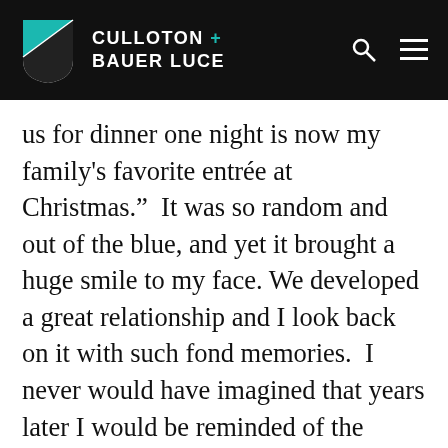CULLOTON + BAUER LUCE
us for dinner one night is now my family’s favorite entrée at Christmas.”  It was so random and out of the blue, and yet it brought a huge smile to my face. We developed a great relationship and I look back on it with such fond memories.  I never would have imagined that years later I would be reminded of the bonds and impressions you make on people.
Relationships are important in life and it is